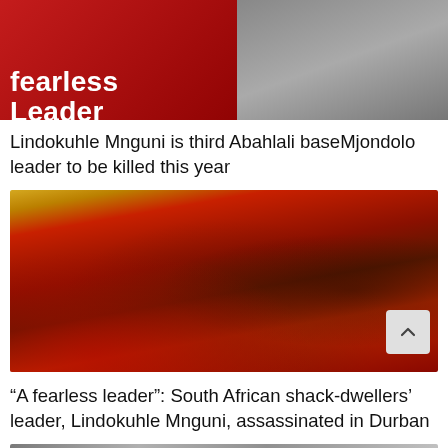[Figure (photo): Partial photo showing text 'fearless Leader' in bold white on red background with a person in grey sweatshirt raising hand]
Lindokuhle Mnguni is third Abahlali baseMjondolo leader to be killed this year
[Figure (photo): Group of people wearing red Abahlali baseMjondolo shirts at an event; a man speaks into a microphone; red banners with organisation logo in background; small scroll-up button visible bottom right]
“A fearless leader”: South African shack-dwellers’ leader, Lindokuhle Mnguni, assassinated in Durban
[Figure (photo): Bottom strip of another photo, partially visible, showing a person]